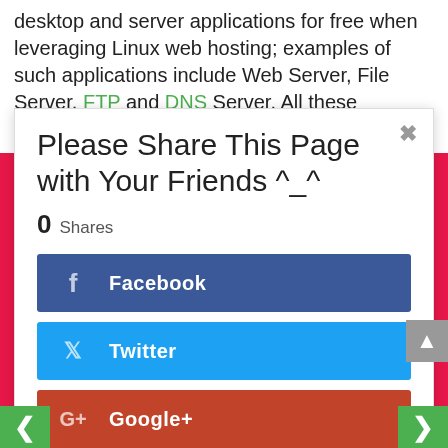desktop and server applications for free when leveraging Linux web hosting; examples of such applications include Web Server, File Server, FTP and DNS Server. All these applications are valuable
Please Share This Page with Your Friends ^_^
0 Shares
f Facebook
Twitter
G+ Google+
...